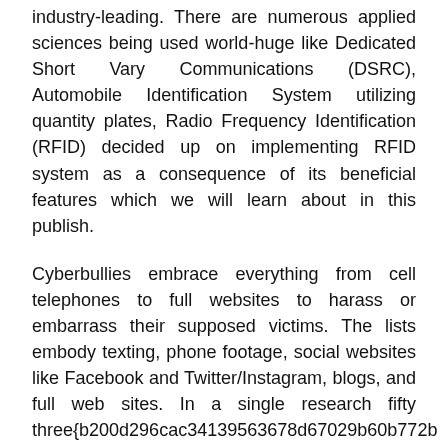industry-leading. There are numerous applied sciences being used world-huge like Dedicated Short Vary Communications (DSRC), Automobile Identification System utilizing quantity plates, Radio Frequency Identification (RFID) decided up on implementing RFID system as a consequence of its beneficial features which we will learn about in this publish.
Cyberbullies embrace everything from cell telephones to full websites to harass or embarrass their supposed victims. The lists embody texting, phone footage, social websites like Facebook and Twitter/Instagram, blogs, and full web sites. In a single research fifty three{b200d296cac34139563678d67029b60b772bcfc439b8b329b90e42445f9c40bb} of scholars admitted to having skilled a hurtful or angry